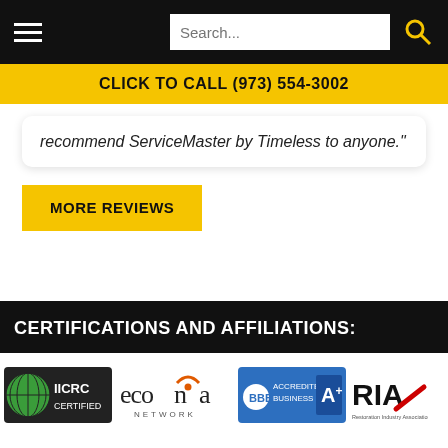Search...
CLICK TO CALL (973) 554-3002
recommend ServiceMaster by Timeless to anyone."
MORE REVIEWS
CERTIFICATIONS AND AFFILIATIONS:
[Figure (logo): IICRC Certified logo, econa network logo, BBB Accredited Business A+ logo, RIA Restoration Industry Association logo]